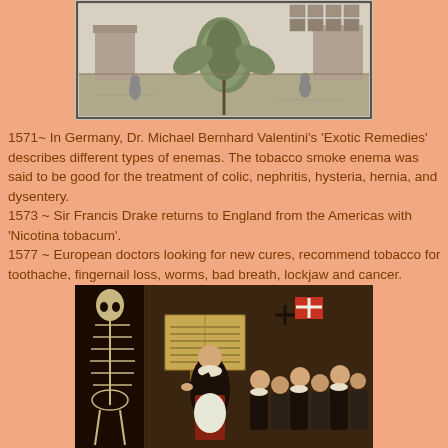[Figure (illustration): Historical black and white engraving showing a tobacco plant with figures and architectural elements in the background]
1571~ In Germany, Dr. Michael Bernhard Valentini's 'Exotic Remedies' describes different types of enemas. The tobacco smoke enema was said to be good for the treatment of colic, nephritis, hysteria, hernia, and dysentery.
1573 ~ Sir Francis Drake returns to England from the Americas with 'Nicotina tobacum'.
1577 ~ European doctors looking for new cures, recommend tobacco for toothache, fingernail loss, worms, bad breath, lockjaw and cancer.
[Figure (illustration): Historical painting depicting a medical or academic scene with a skeleton, robed figures, an open book, and a group of people including a person in clerical dress presenting or lecturing]